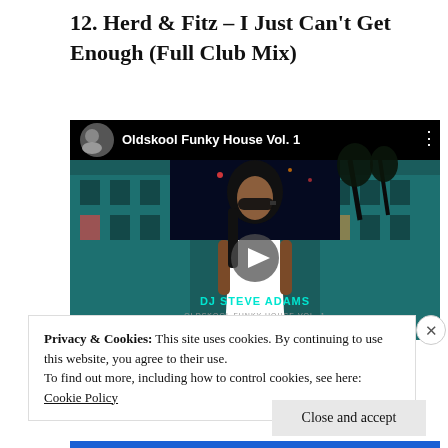12. Herd & Fitz – I Just Can't Get Enough (Full Club Mix)
[Figure (screenshot): YouTube video thumbnail for 'Oldskool Funky House Vol. 1' by DJ Steve Adams, showing a stylized illustration of a woman in sunglasses against a teal building background, with a play button in the center.]
Privacy & Cookies: This site uses cookies. By continuing to use this website, you agree to their use.
To find out more, including how to control cookies, see here:
Cookie Policy
Close and accept